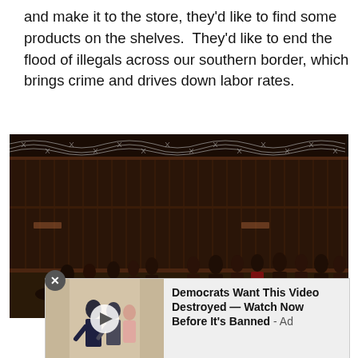and make it to the store, they'd like to find some products on the shelves.  They'd like to end the flood of illegals across our southern border, which brings crime and drives down labor rates.
[Figure (photo): Nighttime photo of a border wall with razor wire at the top. A large group of people stand in front of the tall metal fence panels. The background shows city lights in the distance.]
[Figure (photo): Advertisement overlay showing people walking in formal attire with a play button, alongside text: Democrats Want This Video Destroyed — Watch Now Before It's Banned - Ad]